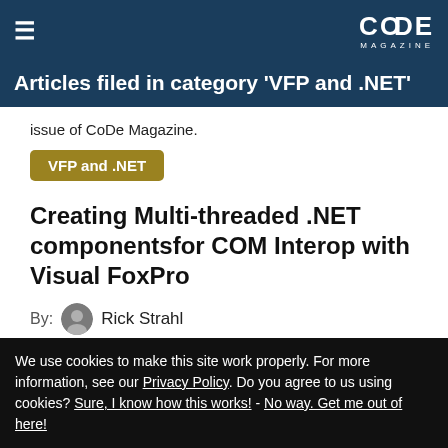CoDe MAGAZINE
Articles filed in category 'VFP and .NET'
issue of CoDe Magazine.
VFP and .NET
Creating Multi-threaded .NET componentsfor COM Interop with Visual FoxPro
By:  Rick Strahl
Last updated: Tuesday, February 19, 2019
We use cookies to make this site work properly. For more information, see our Privacy Policy. Do you agree to us using cookies? Sure, I know how this works! - No way. Get me out of here!